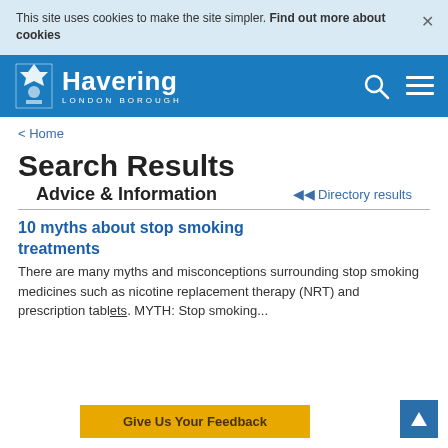This site uses cookies to make the site simpler. Find out more about cookies
[Figure (logo): Havering London Borough logo with coat of arms on blue navigation bar with search and menu icons]
< Home
Search Results
Advice & Information
Directory results
10 myths about stop smoking treatments
There are many myths and misconceptions surrounding stop smoking medicines such as nicotine replacement therapy (NRT) and prescription tablets. MYTH: Stop smoking...